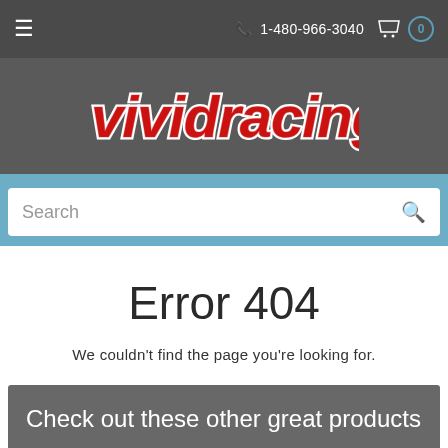≡  1-480-966-3040  0
[Figure (logo): Vivid Racing logo in red stylized lettering with white outline on dark gray background]
Search
Error 404
We couldn't find the page you're looking for.
Check out these other great products